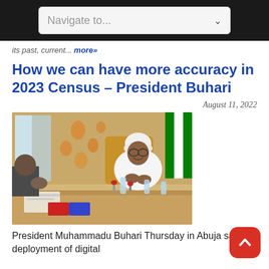Navigate to...
its past, current... more»
How we can have more accuracy in 2023 Census – President Buhari
August 11, 2022
[Figure (photo): President Muhammadu Buhari seated at a conference table in a meeting room, wearing white attire and cap, smiling, with other attendees and a Nigerian flag visible in the background.]
President Muhammadu Buhari Thursday in Abuja said deployment of digital